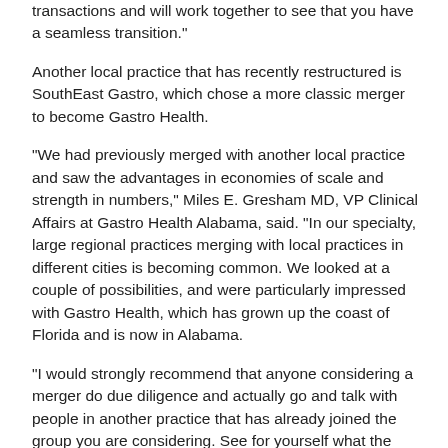transactions and will work together to see that you have a seamless transition."
Another local practice that has recently restructured is SouthEast Gastro, which chose a more classic merger to become Gastro Health.
"We had previously merged with another local practice and saw the advantages in economies of scale and strength in numbers," Miles E. Gresham MD, VP Clinical Affairs at Gastro Health Alabama, said. "In our specialty, large regional practices merging with local practices in different cities is becoming common. We looked at a couple of possibilities, and were particularly impressed with Gastro Health, which has grown up the coast of Florida and is now in Alabama.
"I would strongly recommend that anyone considering a merger do due diligence and actually go and talk with people in another practice that has already joined the group you are considering. See for yourself what the daily routine is like and talk with the people who work there. We received rave reviews from other members of the group who seemed to be quite satisfied.
"We've been well satisfied ourselves since joining the group. When you have economies of scale, you can afford a higher level of